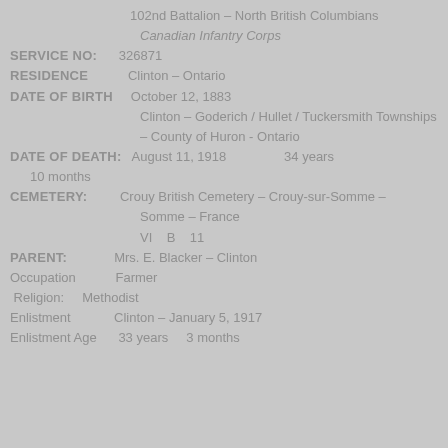102nd Battalion – North British Columbians
Canadian Infantry Corps
SERVICE NO:    326871
RESIDENCE    Clinton – Ontario
DATE OF BIRTH    October 12, 1883
Clinton – Goderich / Hullet / Tuckersmith Townships – County of Huron - Ontario
DATE OF DEATH:    August 11, 1918    34 years    10 months
CEMETERY:    Crouy British Cemetery – Crouy-sur-Somme –
Somme – France
VI    B    11
PARENT:    Mrs. E. Blacker – Clinton
Occupation    Farmer
Religion:    Methodist
Enlistment    Clinton – January 5, 1917
Enlistment Age    33 years    3 months